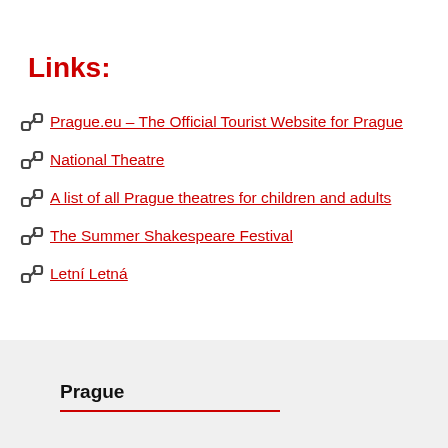Links:
Prague.eu – The Official Tourist Website for Prague
National Theatre
A list of all Prague theatres for children and adults
The Summer Shakespeare Festival
Letní Letná
Share on Facebook  Share on Twitter  Print
Prague